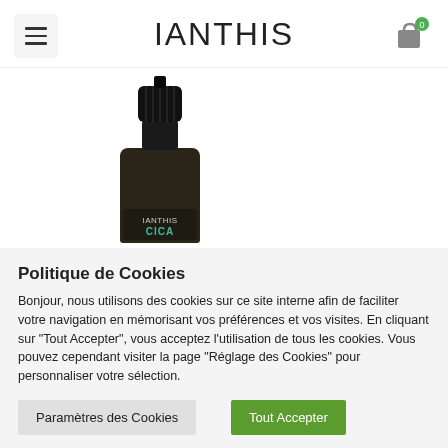IANTHIS
[Figure (photo): Small dark amber glass dropper bottle labeled IANTHIS CICA, with a black ribbed dropper cap, shown on white background.]
Politique de Cookies
Bonjour, nous utilisons des cookies sur ce site interne afin de faciliter votre navigation en mémorisant vos préférences et vos visites. En cliquant sur "Tout Accepter", vous acceptez l'utilisation de tous les cookies. Vous pouvez cependant visiter la page "Réglage des Cookies" pour personnaliser votre sélection.
Paramètres des Cookies
Tout Accepter